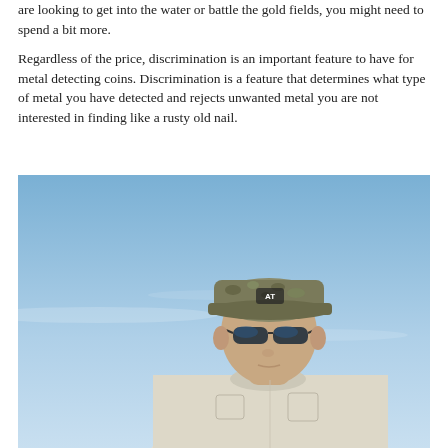are looking to get into the water or battle the gold fields, you might need to spend a bit more.
Regardless of the price, discrimination is an important feature to have for metal detecting coins. Discrimination is a feature that determines what type of metal you have detected and rejects unwanted metal you are not interested in finding like a rusty old nail.
[Figure (photo): A man wearing a camouflage cap with 'AT' text and blue sunglasses, dressed in a light beige long-sleeve shirt, standing outdoors against a light blue sky background, looking downward.]